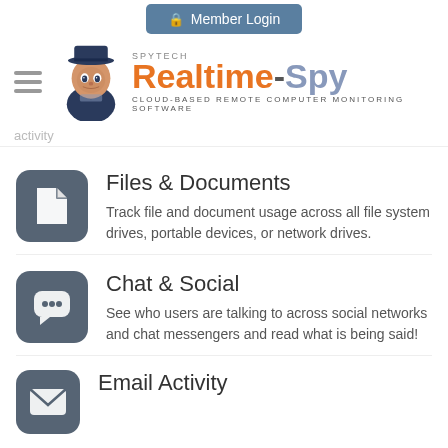Member Login
[Figure (logo): Spytech Realtime-Spy logo with spy figure mascot and text 'CLOUD-BASED REMOTE COMPUTER MONITORING SOFTWARE']
activity
Files & Documents
Track file and document usage across all file system drives, portable devices, or network drives.
Chat & Social
See who users are talking to across social networks and chat messengers and read what is being said!
Email Activity